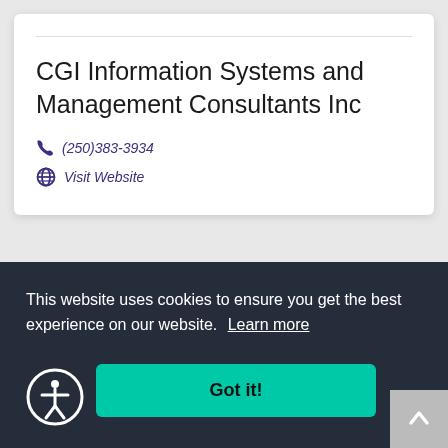CGI Information Systems and Management Consultants Inc
(250)383-3934
Visit Website
This website uses cookies to ensure you get the best experience on our website. Learn more
Got it!